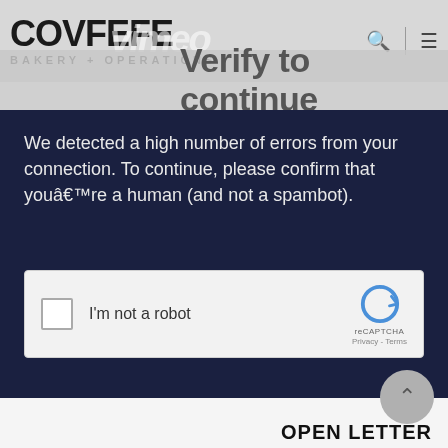[Figure (screenshot): Website header with COVFEFE BAKERY + OPERATIONS logo overlapping a Vimeo watermark, search icon, and hamburger menu icon on a gray background]
Verify to continue
We detected a high number of errors from your connection. To continue, please confirm that youâ€™re a human (and not a spambot).
[Figure (screenshot): reCAPTCHA widget with checkbox labeled I'm not a robot and reCAPTCHA Privacy - Terms branding]
OPEN LETTER